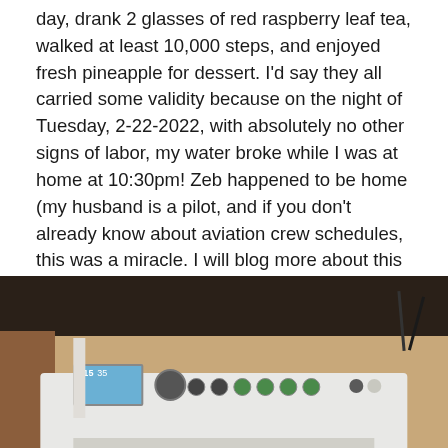day, drank 2 glasses of red raspberry leaf tea, walked at least 10,000 steps, and enjoyed fresh pineapple for dessert. I'd say they all carried some validity because on the night of Tuesday, 2-22-2022, with absolutely no other signs of labor, my water broke while I was at home at 10:30pm! Zeb happened to be home (my husband is a pilot, and if you don't already know about aviation crew schedules, this was a miracle. I will blog more about this lifestyle and schedule in the future.) I called the hospital, letting them know I suspected my water had broken and they told us to come in and get checked out.
[Figure (photo): A photograph showing a medical device (appears to be a hospital fetal monitor or similar equipment) on a wooden surface with a blue/teal screen display showing numbers 115 and 35, dark cords in the background, and a dark overhead area.]